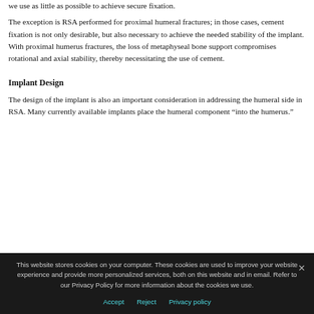We use as little as possible to achieve secure fixation.
The exception is RSA performed for proximal humeral fractures; in those cases, cement fixation is not only desirable, but also necessary to achieve the needed stability of the implant. With proximal humerus fractures, the loss of metaphyseal bone support compromises rotational and axial stability, thereby necessitating the use of cement.
Implant Design
The design of the implant is also an important consideration in addressing the humeral side in RSA. Many currently available implants place the humeral component “into the humerus.”
This website stores cookies on your computer. These cookies are used to improve your website experience and provide more personalized services, both on this website and in email. Refer to our Privacy Policy for more information about the cookies we use.